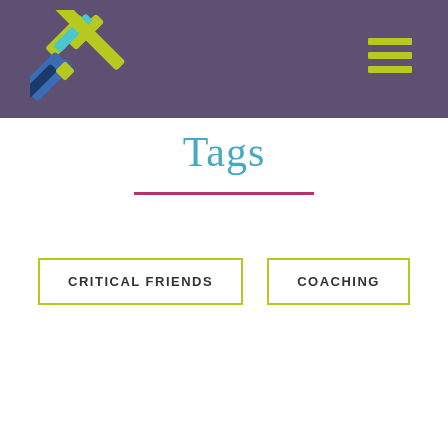[Figure (logo): Crosshatch/X-shaped logo made of colored diagonal lines (lime green, cyan, blue, dark blue) on a purple header background, with a hamburger menu icon (three lime green bars) in the top right.]
Tags
CRITICAL FRIENDS
COACHING